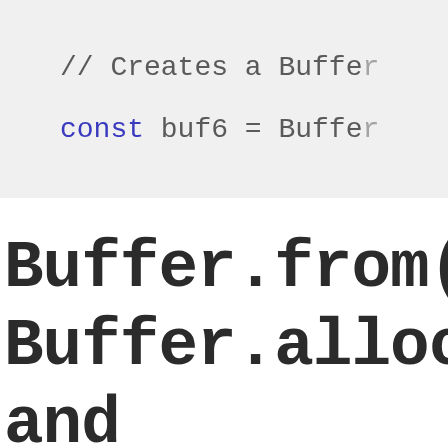[Figure (screenshot): Code snippet on light gray background showing two lines: a comment '// Creates a Buffer' and code 'const buf6 = Buffer' (text truncated on right)]
Buffer.from(#,
Buffer.alloc()
and